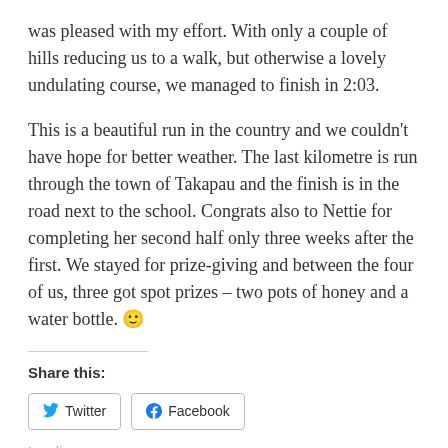was pleased with my effort. With only a couple of hills reducing us to a walk, but otherwise a lovely undulating course, we managed to finish in 2:03.
This is a beautiful run in the country and we couldn't have hope for better weather. The last kilometre is run through the town of Takapau and the finish is in the road next to the school. Congrats also to Nettie for completing her second half only three weeks after the first. We stayed for prize-giving and between the four of us, three got spot prizes – two pots of honey and a water bottle. 🙂
Share this:
Twitter  Facebook
Loading...